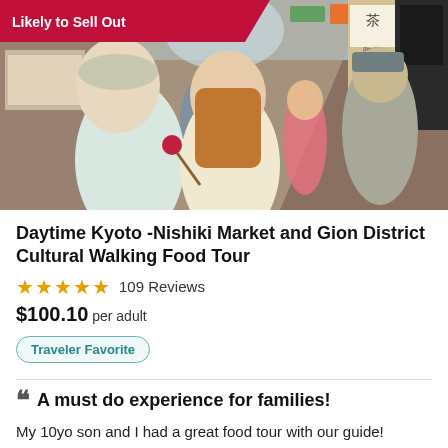[Figure (photo): Two tourists in a busy Japanese market alley (Nishiki Market), man holding food on a stick, woman beside him smiling, market stalls and signs in background]
Daytime Kyoto -Nishiki Market and Gion District Cultural Walking Food Tour
★★★★★ 109 Reviews
$100.10 per adult
Traveler Favorite
A must do experience for families!
My 10yo son and I had a great food tour with our guide!